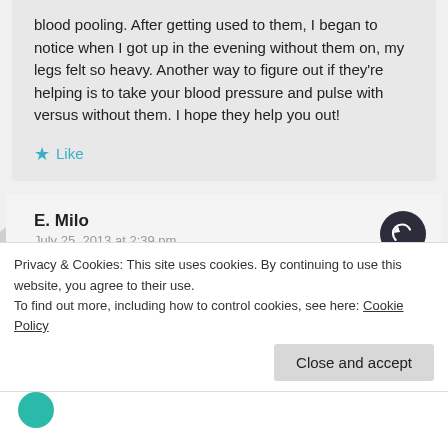blood pooling. After getting used to them, I began to notice when I got up in the evening without them on, my legs felt so heavy. Another way to figure out if they're helping is to take your blood pressure and pulse with versus without them. I hope they help you out!
Like
E. Milo
July 25, 2013 at 2:39 pm
I am so grateful for all your help. I came back...
Privacy & Cookies: This site uses cookies. By continuing to use this website, you agree to their use.
To find out more, including how to control cookies, see here: Cookie Policy
Close and accept